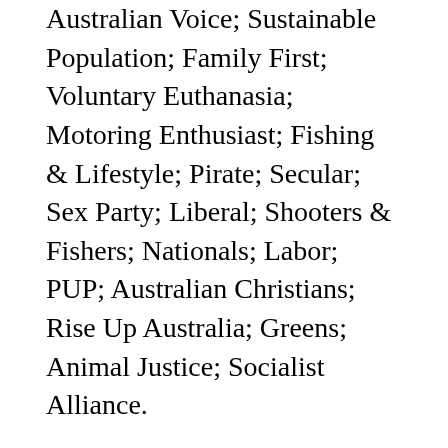Australian Voice; Sustainable Population; Family First; Voluntary Euthanasia; Motoring Enthusiast; Fishing & Lifestyle; Pirate; Secular; Sex Party; Liberal; Shooters & Fishers; Nationals; Labor; PUP; Australian Christians; Rise Up Australia; Greens; Animal Justice; Socialist Alliance.
Australian Fishing and Lifestyle Party:
Freedom and Prosperity; Shooters & Fishers; DLP; Building Australia; Sustainable Population; Sports; Motoring Enthusiast; Australian Christians; Democrats; Mutual; Republican; Family First; Rise Up Australia; Liberal; Nationals; PUP; Animal Justice; Socialist Alliance; Katter's Australian; HEMP; Labor; Greens; Secular; Australian Voice;